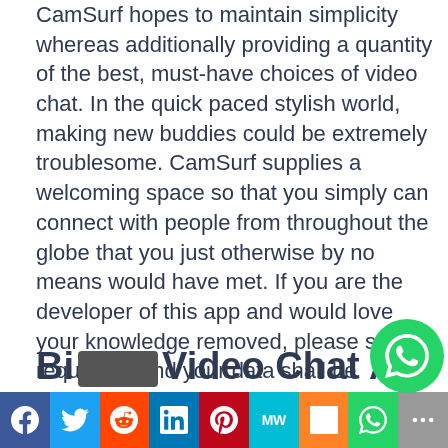CamSurf hopes to maintain simplicity whereas additionally providing a quantity of the best, must-have choices of video chat. In the quick paced stylish world, making new buddies could be extremely troublesome. CamSurf supplies a welcoming space so that you simply can connect with people from throughout the globe that you just otherwise by no means would have met. If you are the developer of this app and would love your knowledge removed, please send a request to and your data shall be eliminated. If you're at an workplace or shared community, you'll have the flexibility to ask the neighborhood administrator to run a scan across the network looking for misconfigured or contaminated gadgets.
Bi... Video Chat Ap...